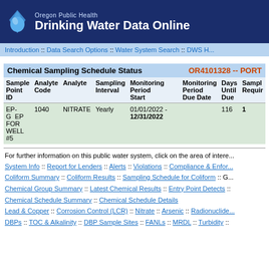Oregon Public Health Drinking Water Data Online
Introduction :: Data Search Options :: Water System Search :: DWS H...
| Sample Point ID | Analyte Code | Analyte | Sampling Interval | Monitoring Period Start | Monitoring Period Due Date | Days Until Due | Samples Required |
| --- | --- | --- | --- | --- | --- | --- | --- |
| EP-G EP FOR WELL #5 | 1040 | NITRATE | Yearly | 01/01/2022 - 12/31/2022 |  | 116 | 1 |
For further information on this public water system, click on the area of interest:
System Info :: Report for Lenders :: Alerts :: Violations :: Compliance & Enforcement :: Coliform Summary :: Coliform Results :: Sampling Schedule for Coliform :: G... :: Chemical Group Summary :: Latest Chemical Results :: Entry Point Detects :: Chemical Schedule Summary :: Chemical Schedule Details :: Lead & Copper :: Corrosion Control (LCR) :: Nitrate :: Arsenic :: Radionuclide :: DBPs :: TOC & Alkalinity :: DBP Sample Sites :: FANLs :: MRDL :: Turbidity ::